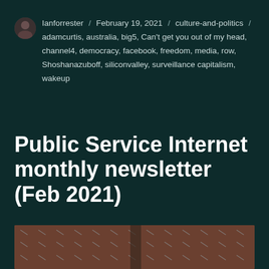Ianforrester / February 19, 2021 / culture-and-politics / adamcurtis, australia, big5, Can't get you out of my head, channel4, democracy, facebook, freedom, media, row, Shoshanazuboff, siliconvalley, surveillance capitalism, wakeup
Public Service Internet monthly newsletter (Feb 2021)
[Figure (photo): Photo of a wall covered with many security surveillance cameras arranged in rows]